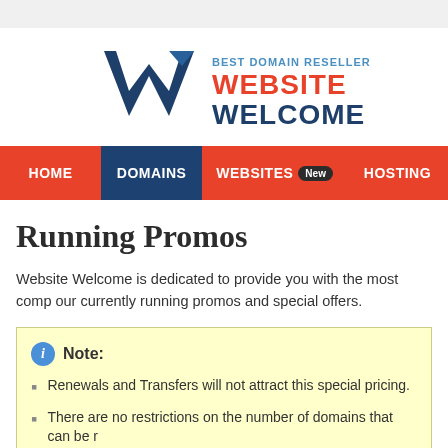[Figure (logo): Website Welcome logo with stylized W and text 'BEST DOMAIN RESELLER WEBSITE WELCOME']
HOME | DOMAINS | WEBSITES New | HOSTING
Running Promos
Website Welcome is dedicated to provide you with the most comp... our currently running promos and special offers.
Note:
Renewals and Transfers will not attract this special pricing.
There are no restrictions on the number of domains that can be r...